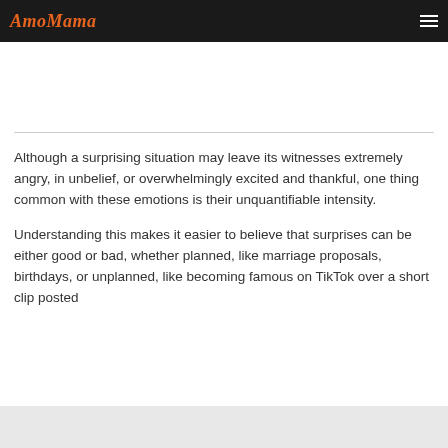AmoMama
Although a surprising situation may leave its witnesses extremely angry, in unbelief, or overwhelmingly excited and thankful, one thing common with these emotions is their unquantifiable intensity.
Understanding this makes it easier to believe that surprises can be either good or bad, whether planned, like marriage proposals, birthdays, or unplanned, like becoming famous on TikTok over a short clip posted...